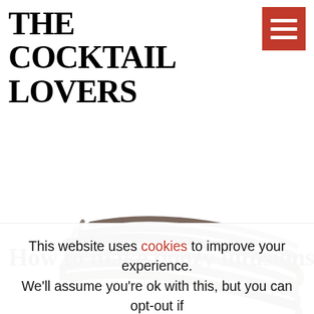THE COCKTAIL LOVERS
[Figure (photo): Close-up photo of several dark brown vanilla beans/pods arranged loosely on a white background, shot from above at a slight angle]
How to make boozy infusions
This website uses cookies to improve your experience. We'll assume you're ok with this, but you can opt-out if you wish.  Cookie settings  ACCEPT